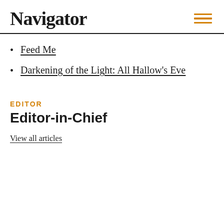Navigator
Feed Me
Darkening of the Light: All Hallow's Eve
EDITOR
Editor-in-Chief
View all articles